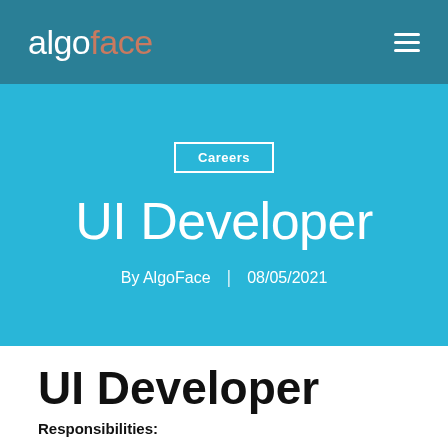algoface
Careers
UI Developer
By AlgoFace | 08/05/2021
UI Developer
Responsibilities: